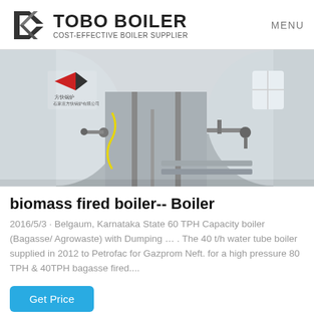TOBO BOILER COST-EFFECTIVE BOILER SUPPLIER MENU
[Figure (photo): Two large industrial boiler tanks installed in a facility, with piping and fittings visible between them. A red and black logo is visible on the left tank.]
biomass fired boiler-- Boiler
2016/5/3 · Belgaum, Karnataka State 60 TPH Capacity boiler (Bagasse/ Agrowaste) with Dumping … . The 40 t/h water tube boiler supplied in 2012 to Petrofac for Gazprom Neft. for a high pressure 80 TPH & 40TPH bagasse fired....
Get Price